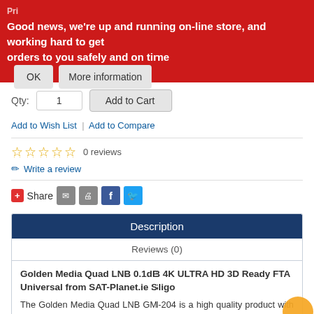Good news, we're up and running on-line store, and working hard to get orders to you safely and on time
Qty: 1  Add to Cart
Add to Wish List | Add to Compare
0 reviews
Write a review
Share
Description
Reviews (0)
Golden Media Quad LNB 0.1dB 4K ULTRA HD 3D Ready FTA Universal from SAT-Planet.ie Sligo
The Golden Media Quad LNB GM-204 is a high quality product with a very low noise figure of 0.1dB giving the best signal quality